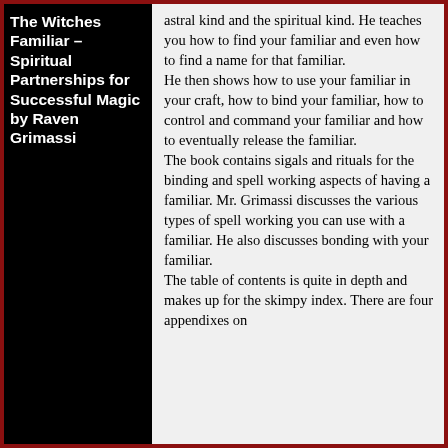The Witches Familiar – Spiritual Partnerships for Successful Magic by Raven Grimassi
astral kind and the spiritual kind.  He teaches you how to find your familiar and even how to find a name for that familiar.
He then shows how to use your familiar in your craft, how to bind your familiar, how to control and command your familiar and how to eventually release the familiar.
The book contains sigals and rituals for the binding and spell working aspects of having a familiar.  Mr. Grimassi discusses the various types of spell working you can use with a familiar.  He also discusses bonding with your familiar.
The table of contents is quite in depth and makes up for the skimpy index.  There are four appendixes on